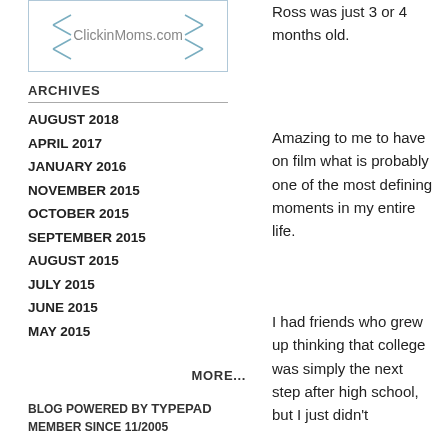[Figure (logo): ClickinMoms.com logo box with decorative corner marks and text]
ARCHIVES
AUGUST 2018
APRIL 2017
JANUARY 2016
NOVEMBER 2015
OCTOBER 2015
SEPTEMBER 2015
AUGUST 2015
JULY 2015
JUNE 2015
MAY 2015
MORE...
BLOG POWERED BY TYPEPAD MEMBER SINCE 11/2005
Ross was just 3 or 4 months old.
Amazing to me to have on film what is probably one of the most defining moments in my entire life.
I had friends who grew up thinking that college was simply the next step after high school, but I just didn't